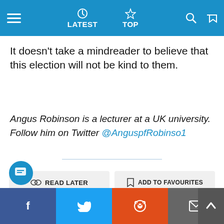LATEST  TOP
It doesn’t take a mindreader to believe that this election will not be kind to them.
Angus Robinson is a lecturer at a UK university. Follow him on Twitter @AnguspfRobinso1
[Figure (screenshot): Action buttons: READ LATER, ADD TO FAVOURITES, ADD TO COLLECTION, REPORT]
[Figure (screenshot): Social share bar with Facebook, Twitter, Reddit, Email buttons and a chat bubble icon and scroll-up button]